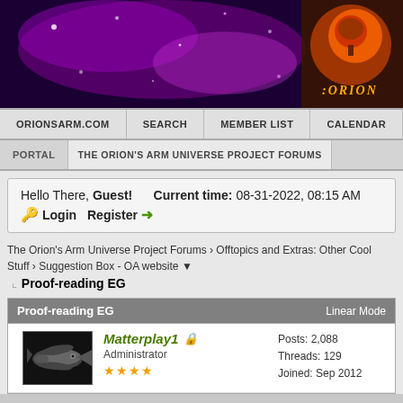[Figure (illustration): Orion's Arm website banner with purple nebula background and orange glowing logo on the right showing a stylized tree icon with ':ORION' text]
ORIONSARM.COM  SEARCH  MEMBER LIST  CALENDAR  HELP
PORTAL  THE ORION'S ARM UNIVERSE PROJECT FORUMS
Hello There, Guest!  Current time: 08-31-2022, 08:15 AM
🔑 Login  Register ➡
The Orion's Arm Universe Project Forums › Offtopics and Extras: Other Cool Stuff › Suggestion Box - OA website ▼
Proof-reading EG
Proof-reading EG  Linear Mode
Matterplay1  Administrator
Posts: 2,088
Threads: 129
Joined: Sep 2012